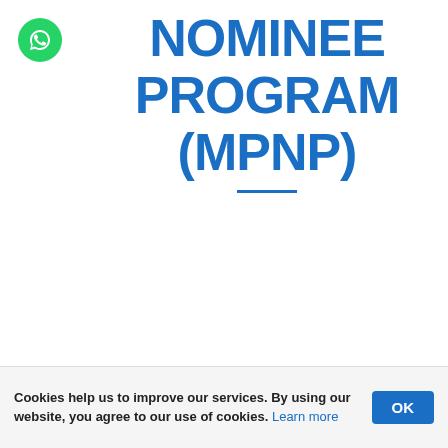NOMINEE PROGRAM (MPNP)
Under the Manitoba Provincial Nominee Program (MPNP), candidates may qualify under one of the following streams:
Cookies help us to improve our services. By using our website, you agree to our use of cookies. Learn more